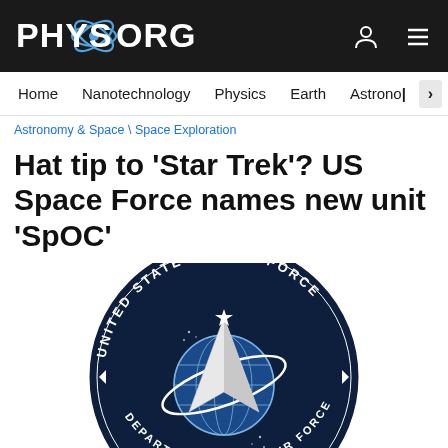PHYS.ORG
Home  Nanotechnology  Physics  Earth  Astronomy
Astronomy & Space \ Space Exploration
Hat tip to 'Star Trek'? US Space Force names new unit 'SpOC'
[Figure (logo): United States Space Force seal/emblem — circular dark navy badge with white text 'UNITED STATES SPACE FORCE' around top arc and 'DEPARTMENT OF...' / '...FORCE' around bottom, with a white delta/arrow logo over a blue globe with orbital ring in the center, stars and smaller arrows as decorative elements.]